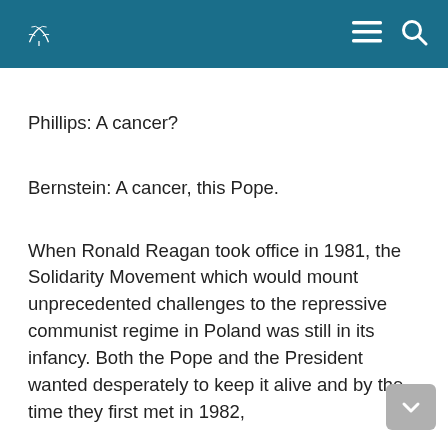BRANCH
Phillips: A cancer?
Bernstein: A cancer, this Pope.
When Ronald Reagan took office in 1981, the Solidarity Movement which would mount unprecedented challenges to the repressive communist regime in Poland was still in its infancy. Both the Pope and the President wanted desperately to keep it alive and by the time they first met in 1982,